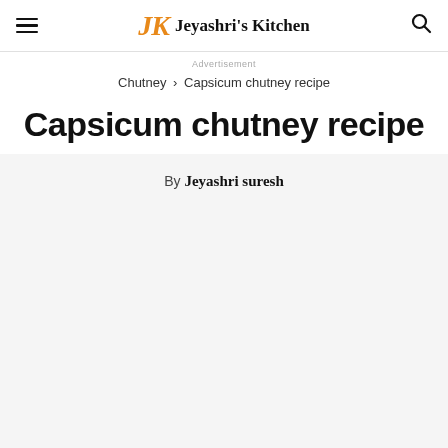JK Jeyashri's Kitchen
Advertisement
Chutney › Capsicum chutney recipe
Capsicum chutney recipe
By Jeyashri suresh